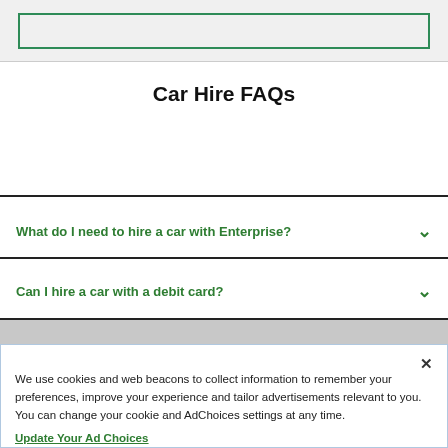[Figure (other): Green-bordered input box or search field within a gray background area]
Car Hire FAQs
What do I need to hire a car with Enterprise?
Can I hire a car with a debit card?
We use cookies and web beacons to collect information to remember your preferences, improve your experience and tailor advertisements relevant to you. You can change your cookie and AdChoices settings at any time.
Update Your Ad Choices